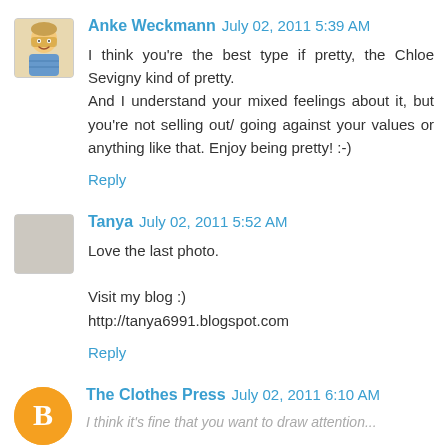Anke Weckmann  July 02, 2011 5:39 AM
I think you're the best type if pretty, the Chloe Sevigny kind of pretty.
And I understand your mixed feelings about it, but you're not selling out/ going against your values or anything like that. Enjoy being pretty! :-)
Reply
Tanya  July 02, 2011 5:52 AM
Love the last photo.

Visit my blog :)
http://tanya6991.blogspot.com
Reply
The Clothes Press  July 02, 2011 6:10 AM